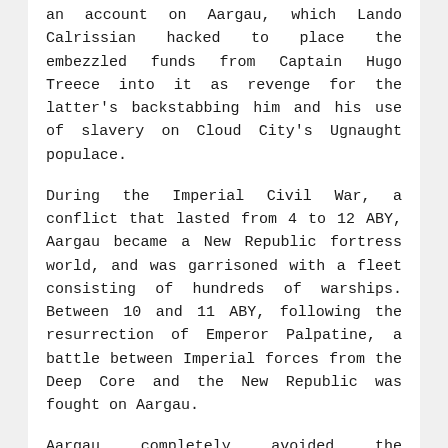an account on Aargau, which Lando Calrissian hacked to place the embezzled funds from Captain Hugo Treece into it as revenge for the latter's backstabbing him and his use of slavery on Cloud City's Ugnaught populace.
During the Imperial Civil War, a conflict that lasted from 4 to 12 ABY, Aargau became a New Republic fortress world, and was garrisoned with a fleet consisting of hundreds of warships. Between 10 and 11 ABY, following the resurrection of Emperor Palpatine, a battle between Imperial forces from the Deep Core and the New Republic was fought on Aargau.
Aargau completely avoided the destruction wrought by the Yuuzhan Vong War. The region of space occupied by the planet fell under the political hegemony of the Galactic Federation